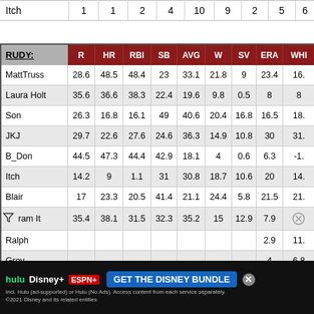|  | R | HR | RBI | SB | AVG | W | SV | ERA | WH |
| --- | --- | --- | --- | --- | --- | --- | --- | --- | --- |
| Itch | 1 | 1 | 2 | 4 | 10 | 9 | 2 | 5 | 6 |
| MattTruss | 28.6 | 48.5 | 48.4 | 23 | 33.1 | 21.8 | 9 | 23.4 | 16. |
| Laura Holt | 35.6 | 36.6 | 38.3 | 22.4 | 19.6 | 9.8 | 0.5 | 8 | 8 |
| Son | 26.3 | 16.8 | 16.1 | 49 | 40.6 | 20.4 | 16.8 | 16.5 | 18. |
| JKJ | 29.7 | 22.6 | 27.6 | 24.6 | 36.3 | 14.9 | 10.8 | 30 | 31. |
| B_Don | 44.5 | 47.3 | 44.4 | 42.9 | 18.1 | 4 | 0.6 | 6.3 | -1. |
| Itch | 14.2 | 9 | 1.1 | 31 | 30.8 | 18.7 | 10.6 | 20 | 14. |
| Blair | 17 | 23.3 | 20.5 | 41.4 | 21.1 | 24.4 | 5.8 | 21.5 | 21. |
| ram It | 35.4 | 38.1 | 31.5 | 32.3 | 35.2 | 15 | 12.9 | 7.9 |  |
| Ralph |  |  |  |  |  |  |  | 2.9 | 11. |
| Grey |  |  |  |  |  |  |  | 4 | 6.8 |